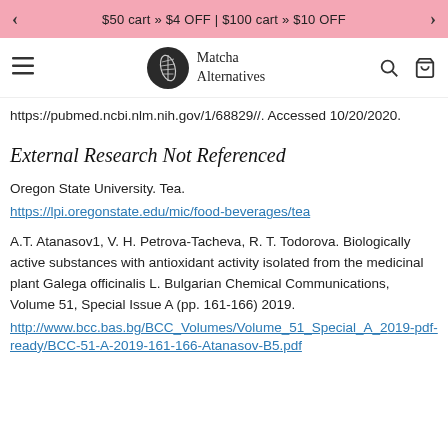< $50 cart » $4 OFF | $100 cart » $10 OFF >
[Figure (logo): Matcha Alternatives logo with navigation bar including hamburger menu, circular leaf logo, search and cart icons]
https://pubmed.ncbi.nlm.nih.gov/1/68829//. Accessed 10/20/2020.
External Research Not Referenced
Oregon State University. Tea.
https://lpi.oregonstate.edu/mic/food-beverages/tea
A.T. Atanasov1, V. H. Petrova-Tacheva, R. T. Todorova. Biologically active substances with antioxidant activity isolated from the medicinal plant Galega officinalis L. Bulgarian Chemical Communications, Volume 51, Special Issue A (pp. 161-166) 2019.
http://www.bcc.bas.bg/BCC_Volumes/Volume_51_Special_A_2019-pdf-ready/BCC-51-A-2019-161-166-Atanasov-B5.pdf